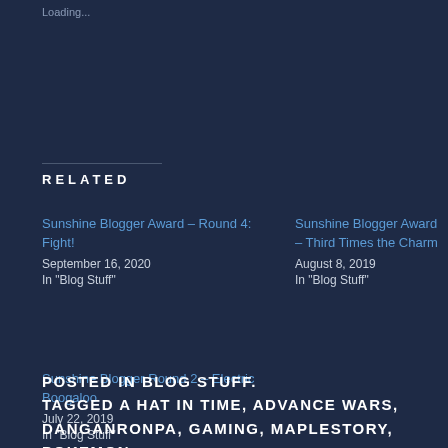Loading...
RELATED
Sunshine Blogger Award – Round 4: Fight!
September 16, 2020
In "Blog Stuff"
Sunshine Blogger Award – Third Times the Charm
August 8, 2019
In "Blog Stuff"
Sunshine Blogger Round 2 – Electric Boogaloo
July 22, 2019
In "Blog Stuff"
POSTED IN BLOG STUFF.
TAGGED A HAT IN TIME, ADVANCE WARS, DANGANRONPA, GAMING, MAPLESTORY, POKEMON,